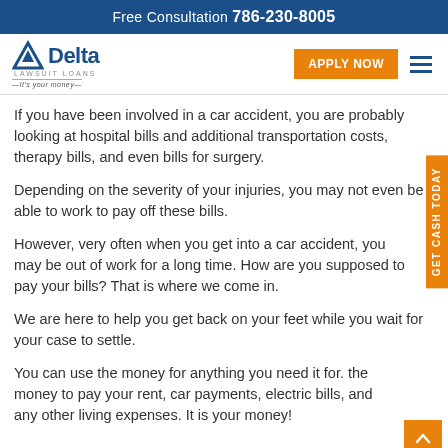Free Consultation 786-230-8005
[Figure (logo): Delta Lawsuit Loans logo with triangle icon, tagline 'It's your money']
If you have been involved in a car accident, you are probably looking at hospital bills and additional transportation costs, therapy bills, and even bills for surgery.
Depending on the severity of your injuries, you may not even be able to work to pay off these bills.
However, very often when you get into a car accident, you may be out of work for a long time. How are you supposed to pay your bills? That is where we come in.
We are here to help you get back on your feet while you wait for your case to settle.
You can use the money for anything you need it for. Use the money to pay your rent, car payments, electric bills, and any other living expenses. It is your money!